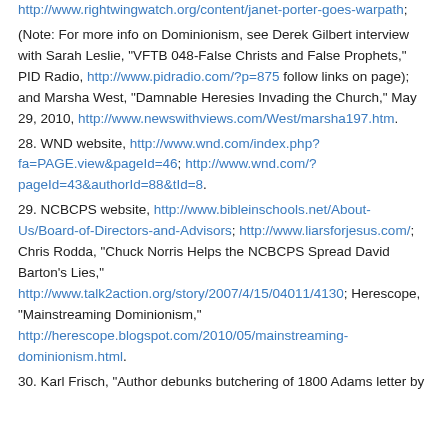http://www.rightwingwatch.org/content/janet-porter-goes-warpath;
(Note: For more info on Dominionism, see Derek Gilbert interview with Sarah Leslie, "VFTB 048-False Christs and False Prophets," PID Radio, http://www.pidradio.com/?p=875 follow links on page); and Marsha West, "Damnable Heresies Invading the Church," May 29, 2010, http://www.newswithviews.com/West/marsha197.htm.
28. WND website, http://www.wnd.com/index.php?fa=PAGE.view&pageId=46; http://www.wnd.com/?pageId=43&authorId=88&tId=8.
29. NCBCPS website, http://www.bibleinschools.net/About-Us/Board-of-Directors-and-Advisors; http://www.liarsforjesus.com/; Chris Rodda, "Chuck Norris Helps the NCBCPS Spread David Barton's Lies," http://www.talk2action.org/story/2007/4/15/04011/4130; Herescope, "Mainstreaming Dominionism," http://herescope.blogspot.com/2010/05/mainstreaming-dominionism.html.
30. Karl Frisch, "Author debunks butchering of 1800 Adams letter by